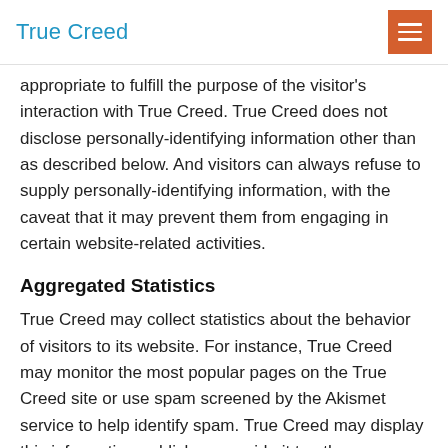True Creed
appropriate to fulfill the purpose of the visitor's interaction with True Creed. True Creed does not disclose personally-identifying information other than as described below. And visitors can always refuse to supply personally-identifying information, with the caveat that it may prevent them from engaging in certain website-related activities.
Aggregated Statistics
True Creed may collect statistics about the behavior of visitors to its website. For instance, True Creed may monitor the most popular pages on the True Creed site or use spam screened by the Akismet service to help identify spam. True Creed may display this information publicly or provide it to others. However, True Creed does not disclose personally-identifying information other than as described